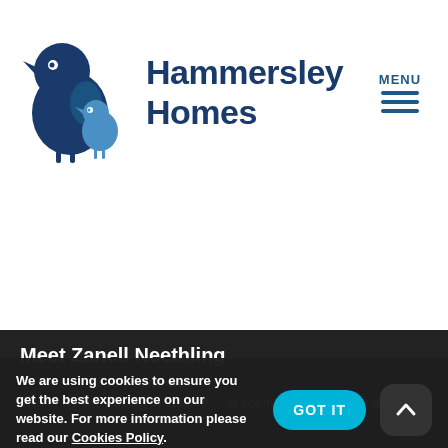[Figure (logo): Hammersley Homes logo with two stylized dark and light blue bird figures]
Hammersley Homes
[Figure (other): MENU hamburger icon with three horizontal lines]
Meet Zanell Neethling
5 of Volunteers' Week, we are hoping to volunte… blog and newsletter, Zanell
We are using cookies to ensure you get the best experience on our website. For more information please read our Cookies Policy.